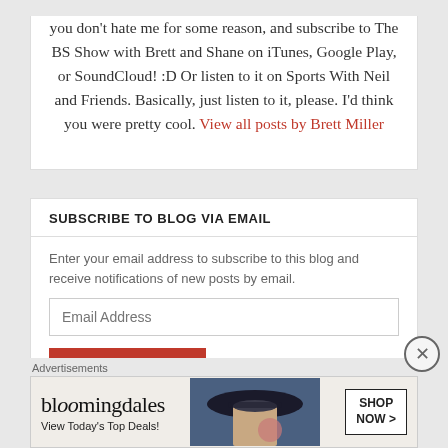I'm one of these Twitter guys. Do me a solid if you don't hate me for some reason, and subscribe to The BS Show with Brett and Shane on iTunes, Google Play, or SoundCloud! :D Or listen to it on Sports With Neil and Friends. Basically, just listen to it, please. I'd think you were pretty cool. View all posts by Brett Miller
SUBSCRIBE TO BLOG VIA EMAIL
Enter your email address to subscribe to this blog and receive notifications of new posts by email.
[Figure (screenshot): Email subscription form with text input field labeled 'Email Address' and a red SUBSCRIBE button]
[Figure (illustration): Bloomingdale's advertisement banner showing logo, 'View Today's Top Deals!' tagline, woman in wide-brim hat, and SHOP NOW button]